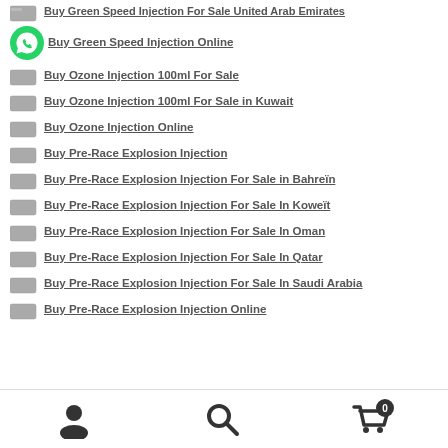Buy Green Speed Injection For Sale United Arab Emirates
Buy Green Speed Injection Online
Buy Ozone Injection 100ml For Sale
Buy Ozone Injection 100ml For Sale in Kuwait
Buy Ozone Injection Online
Buy Pre-Race Explosion Injection
Buy Pre-Race Explosion Injection For Sale in Bahreïn
Buy Pre-Race Explosion Injection For Sale In Koweït
Buy Pre-Race Explosion Injection For Sale In Oman
Buy Pre-Race Explosion Injection For Sale In Qatar
Buy Pre-Race Explosion Injection For Sale In Saudi Arabia
Buy Pre-Race Explosion Injection Online
User | Search | Cart (0)